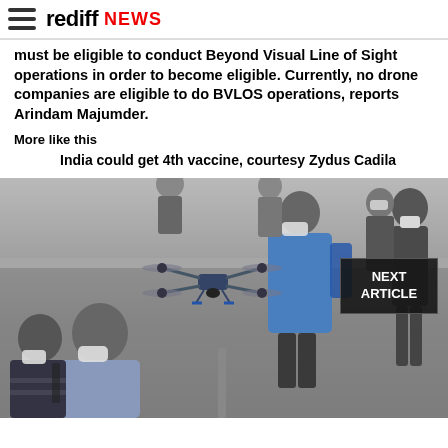rediff NEWS
must be eligible to conduct Beyond Visual Line of Sight operations in order to become eligible. Currently, no drone companies are eligible to do BVLOS operations, reports Arindam Majumder.
More like this
India could get 4th vaccine, courtesy Zydus Cadila
[Figure (photo): A drone flying in mid-air over a public space with masked pedestrians walking below and around in the background.]